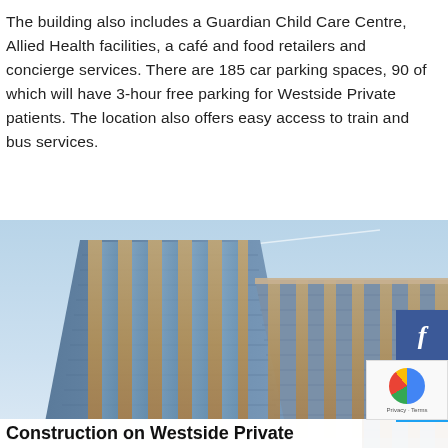The building also includes a Guardian Child Care Centre, Allied Health facilities, a café and food retailers and concierge services. There are 185 car parking spaces, 90 of which will have 3-hour free parking for Westside Private patients. The location also offers easy access to train and bus services.
[Figure (photo): Exterior architectural rendering of a modern multi-storey building with glass curtain wall facade and warm-toned cladding, photographed from a low angle against a blue sky.]
Construction on Westside Private Hospital commenced after